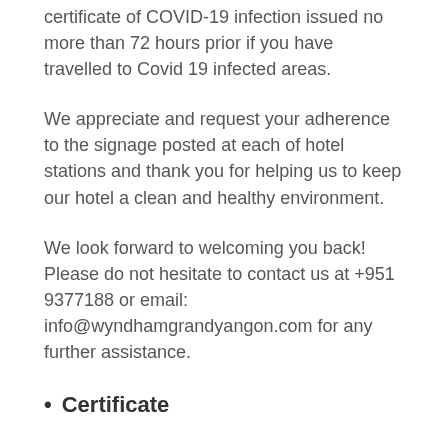certificate of COVID-19 infection issued no more than 72 hours prior if you have travelled to Covid 19 infected areas.
We appreciate and request your adherence to the signage posted at each of hotel stations and thank you for helping us to keep our hotel a clean and healthy environment.
We look forward to welcoming you back! Please do not hesitate to contact us at +951 9377188 or email: info@wyndhamgrandyangon.com for any further assistance.
Certificate